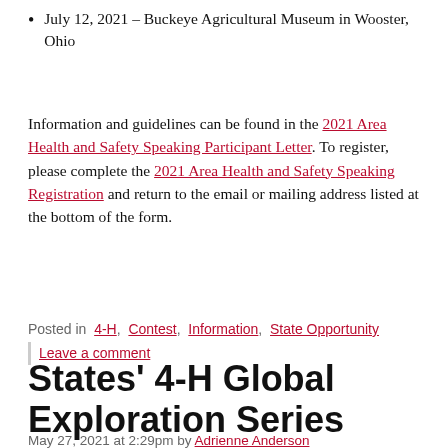July 12, 2021 – Buckeye Agricultural Museum in Wooster, Ohio
Information and guidelines can be found in the 2021 Area Health and Safety Speaking Participant Letter. To register, please complete the 2021 Area Health and Safety Speaking Registration and return to the email or mailing address listed at the bottom of the form.
Posted in  4-H,  Contest,  Information,  State Opportunity | Leave a comment
States' 4-H Global Exploration Series
May 27, 2021 at 2:29pm by Adrienne Anderson